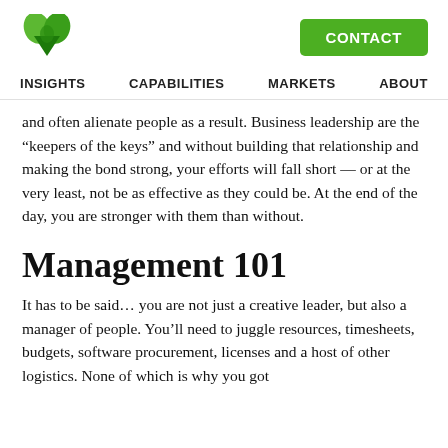[Logo] CONTACT
INSIGHTS   CAPABILITIES   MARKETS   ABOUT
and often alienate people as a result. Business leadership are the “keepers of the keys” and without building that relationship and making the bond strong, your efforts will fall short — or at the very least, not be as effective as they could be. At the end of the day, you are stronger with them than without.
Management 101
It has to be said… you are not just a creative leader, but also a manager of people. You’ll need to juggle resources, timesheets, budgets, software procurement, licenses and a host of other logistics. None of which is why you got